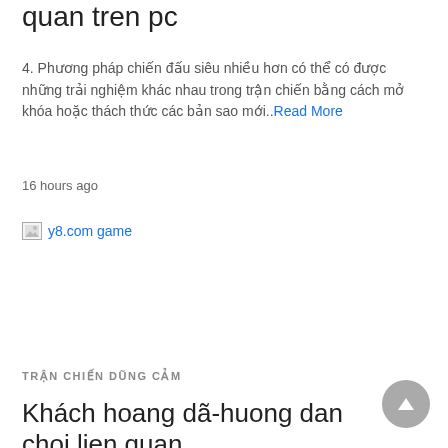quan tren pc
4. Phương pháp chiến đấu siêu nhiều hơn có thể có được những trải nghiệm khác nhau trong trận chiến bằng cách mở khóa hoặc thách thức các bản sao mới..Read More
16 hours ago
[Figure (photo): Broken image placeholder with link text 'y8.com game']
TRẬN CHIẾN DŨNG CẢM
Khách hoang dã-huong dan choi lien quan